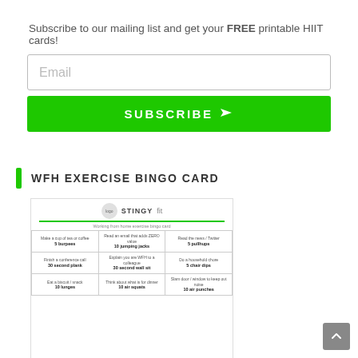Subscribe to our mailing list and get your FREE printable HIIT cards!
[Figure (screenshot): Email input field with placeholder text 'Email']
[Figure (screenshot): Green SUBSCRIBE button with arrow icon]
WFH EXERCISE BINGO CARD
[Figure (table-as-image): WFH Exercise Bingo Card by Stingy Fit. A 3x3 grid table showing working from home exercise bingo card with exercises like 5 burpees, 10 jumping jacks, 5 pushups, 30 second plank, 30 second wall sit, 5 chair dips, 10 lunges, 10 air squats, 10 air punches paired with activities like making tea, reading emails, reading news, finishing conference calls, explaining WFH to colleagues, doing household chores, eating biscuits, thinking about dinner, slamming doors.]